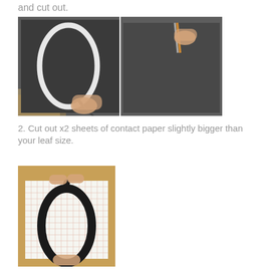and cut out.
[Figure (photo): Two side-by-side photos: left shows hands tracing a leaf shape outline on dark black foam/paper on a wooden surface; right shows scissors cutting the same dark black material on a wooden surface.]
2. Cut out x2 sheets of contact paper slightly bigger than your leaf size.
[Figure (photo): Hands holding a black foam leaf cutout shape over a sheet of white grid/graph contact paper on a wooden surface, showing how to size the contact paper slightly larger than the leaf.]